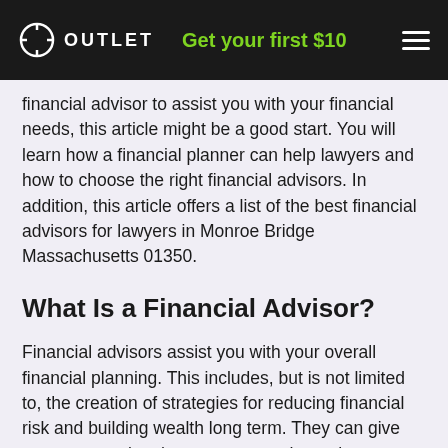OUTLET | Get your first $10
financial advisor to assist you with your financial needs, this article might be a good start. You will learn how a financial planner can help lawyers and how to choose the right financial advisors. In addition, this article offers a list of the best financial advisors for lawyers in Monroe Bridge Massachusetts 01350.
What Is a Financial Advisor?
Financial advisors assist you with your overall financial planning. This includes, but is not limited to, the creation of strategies for reducing financial risk and building wealth long term. They can give you a game plan that sets you on the path to achieve